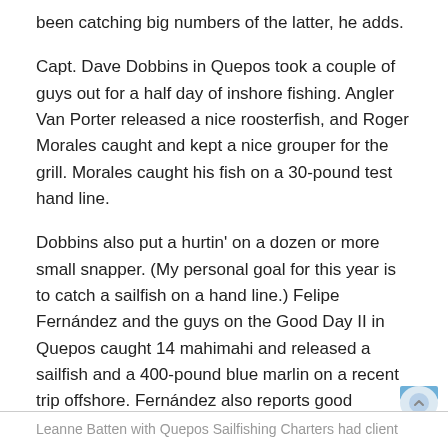been catching big numbers of the latter, he adds.
Capt. Dave Dobbins in Quepos took a couple of guys out for a half day of inshore fishing. Angler Van Porter released a nice roosterfish, and Roger Morales caught and kept a nice grouper for the grill. Morales caught his fish on a 30-pound test hand line.
Dobbins also put a hurtin' on a dozen or more small snapper. (My personal goal for this year is to catch a sailfish on a hand line.) Felipe Fernández and the guys on the Good Day II in Quepos caught 14 mahimahi and released a sailfish and a 400-pound blue marlin on a recent trip offshore. Fernández also reports good numbers of mahimahi being caught in the Quepos area, even though the blue water is 45 miles out.
Leanne Batten with Quepos Sailfishing Charters had client